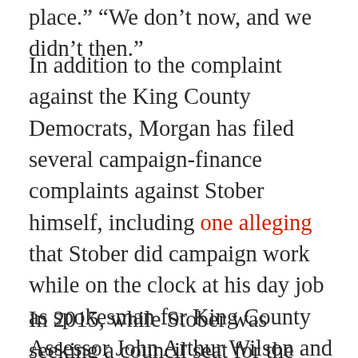place.” “We don’t now, and we didn’t then.”
In addition to the complaint against the King County Democrats, Morgan has filed several campaign-finance complaints against Stober himself, including one alleging that Stober did campaign work while on the clock at his day job as spokesman for King County Assessor John Arthur Wilson and others claiming he failed to file timely reports during his three unsuccessful bids for Kent City Council.
In 2015, while Stober was seeking a council seat for the third time, the state Public Disclosure Commission ordered him to pay a fine of $4,000 in two of the cases instigated by Morgan, with $2,000 of that amount suspended as long as he did not commit additional campaign-finance violations. But